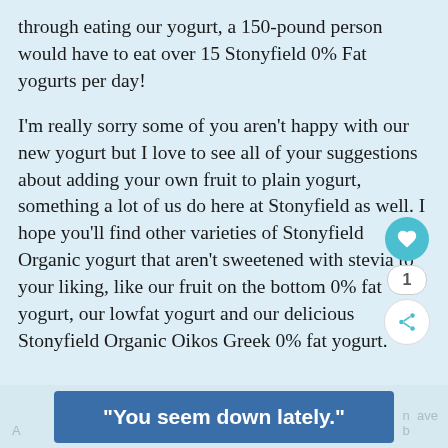through eating our yogurt, a 150-pound person would have to eat over 15 Stonyfield 0% Fat yogurts per day!
I'm really sorry some of you aren't happy with our new yogurt but I love to see all of your suggestions about adding your own fruit to plain yogurt, something a lot of us do here at Stonyfield as well. I hope you'll find other varieties of Stonyfield Organic yogurt that aren't sweetened with stevia to your liking, like our fruit on the bottom 0% fat yogurt, our lowfat yogurt and our delicious Stonyfield Organic Oikos Greek 0% fat yogurt.
[Figure (other): Advertisement banner with dark blue background and white bold text reading: "You seem down lately."]